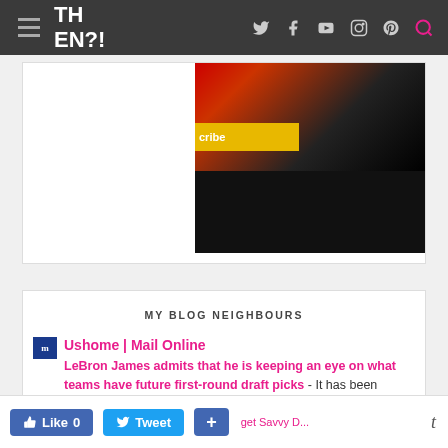H EN?! [navigation bar with social icons]
[Figure (screenshot): Video thumbnail with subscribe button, red diagonal element, and dark lower half]
MY BLOG NEIGHBOURS
Ushome | Mail Online — LeBron James admits that he is keeping an eye on what teams have future first-round draft picks - It has been previously mentioned as a possibility that LeBron James would consider leaving the Lakers in order to play with his eldest son Bronny James and... 50 minutes ago
Like 0   Tweet   +   Get Savvy Dr...   t